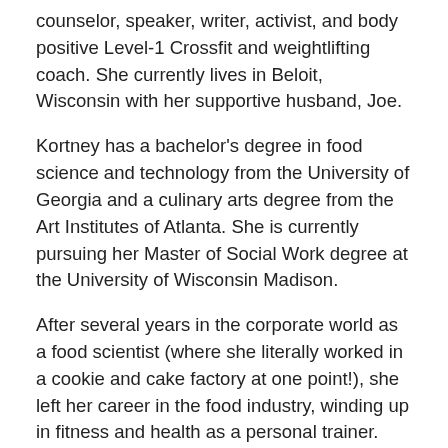counselor, speaker, writer, activist, and body positive Level-1 Crossfit and weightlifting coach. She currently lives in Beloit, Wisconsin with her supportive husband, Joe.
Kortney has a bachelor's degree in food science and technology from the University of Georgia and a culinary arts degree from the Art Institutes of Atlanta. She is currently pursuing her Master of Social Work degree at the University of Wisconsin Madison.
After several years in the corporate world as a food scientist (where she literally worked in a cookie and cake factory at one point!), she left her career in the food industry, winding up in fitness and health as a personal trainer. She eventually found her way to the weightlifting and Crossfit world where she specialized in nutrition and wellness as a certified Level One Precision Nutrition coach.
Kortney now helps women take their lives back from the